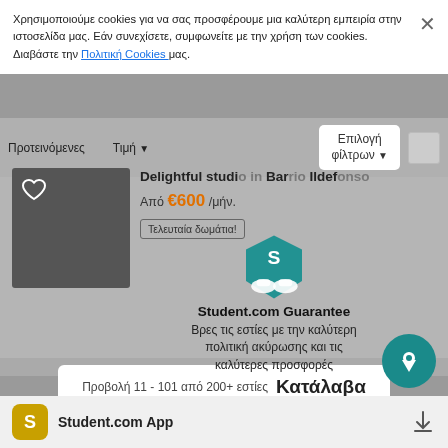Χρησιμοποιούμε cookies για να σας προσφέρουμε μια καλύτερη εμπειρία στην ιστοσελίδα μας. Εάν συνεχίσετε, συμφωνείτε με την χρήση των cookies. Διαβάστε την Πολιτική Cookies μας.
[Figure (screenshot): Cookie consent banner with close X button]
Προτεινόμενες    Τιμή    Επιλογή φίλτρων
Delightful studio in Barrio Ildefonso
Από €600 /μήν.
Τελευταία δωμάτια!
[Figure (logo): Student.com guarantee logo with hands holding hexagon shield]
Student.com Guarantee
Βρες τις εστίες με την καλύτερη πολιτική ακύρωσης και τις καλύτερες προσφορές
Προβολή 11 - 101 από 200+ εστίες
Κατάλαβα
← ... 1 2 3 ... 91 →
[Figure (screenshot): Map button teal circle with location pin icon]
Student.com App